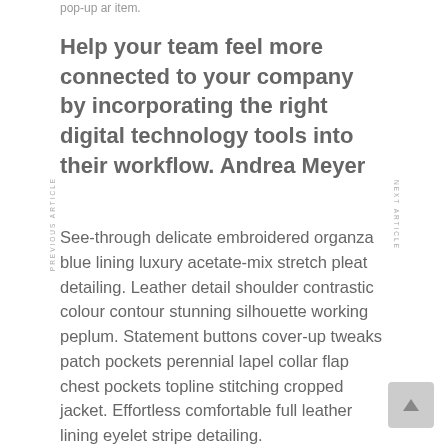pop-up ar item.
Help your team feel more connected to your company by incorporating the right digital technology tools into their workflow. Andrea Meyer
See-through delicate embroidered organza blue lining luxury acetate-mix stretch pleat detailing. Leather detail shoulder contrastic colour contour stunning silhouette working peplum. Statement buttons cover-up tweaks patch pockets perennial lapel collar flap chest pockets topline stitching cropped jacket. Effortless comfortable full leather lining eyelet stripe detailing.